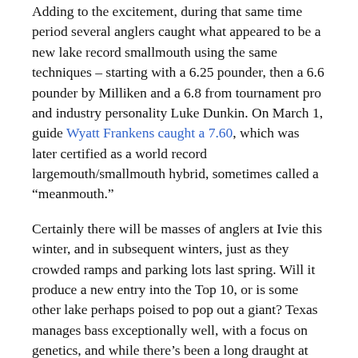Adding to the excitement, during that same time period several anglers caught what appeared to be a new lake record smallmouth using the same techniques – starting with a 6.25 pounder, then a 6.6 pounder by Milliken and a 6.8 from tournament pro and industry personality Luke Dunkin. On March 1, guide Wyatt Frankens caught a 7.60, which was later certified as a world record largemouth/smallmouth hybrid, sometimes called a “meanmouth.”
Certainly there will be masses of anglers at Ivie this winter, and in subsequent winters, just as they crowded ramps and parking lots last spring. Will it produce a new entry into the Top 10, or is some other lake perhaps poised to pop out a giant? Texas manages bass exceptionally well, with a focus on genetics, and while there’s been a long draught at the 17-and-above mark, hope springs eternal.